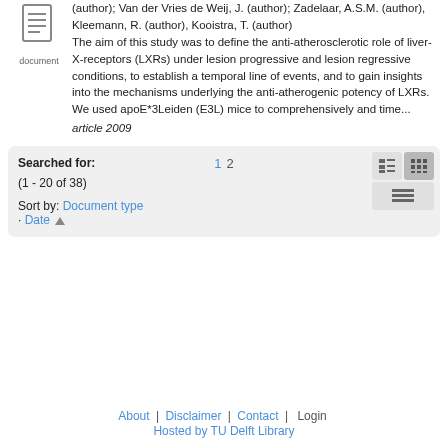(author); Van der Vries de Weij, J. (author); Zadelaar, A.S.M. (author), Kleemann, R. (author), Kooistra, T. (author)
[Figure (illustration): Document icon with lines, labeled 'document' below]
The aim of this study was to define the anti-atherosclerotic role of liver-X-receptors (LXRs) under lesion progressive and lesion regressive conditions, to establish a temporal line of events, and to gain insights into the mechanisms underlying the anti-atherogenic potency of LXRs. We used apoE*3Leiden (E3L) mice to comprehensively and time...
article 2009
Searched for:
(1 - 20 of 38)
1  2
Sort by: Document type
· Date ▲
About  |  Disclaimer  |  Contact  |  Login
Hosted by TU Delft Library